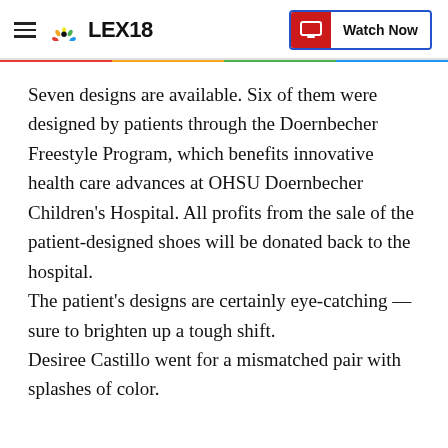LEX18 | Watch Now
Seven designs are available. Six of them were designed by patients through the Doernbecher Freestyle Program, which benefits innovative health care advances at OHSU Doernbecher Children’s Hospital. All profits from the sale of the patient-designed shoes will be donated back to the hospital.
The patient’s designs are certainly eye-catching — sure to brighten up a tough shift.
Desiree Castillo went for a mismatched pair with splashes of color.